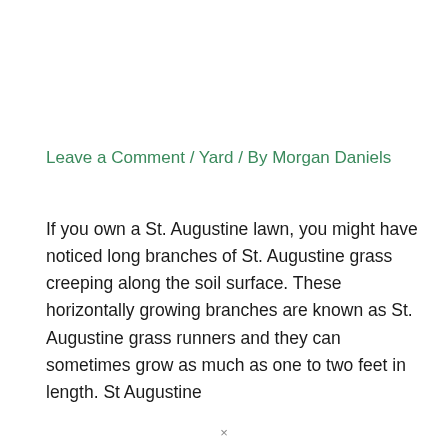Leave a Comment / Yard / By Morgan Daniels
If you own a St. Augustine lawn, you might have noticed long branches of St. Augustine grass creeping along the soil surface. These horizontally growing branches are known as St. Augustine grass runners and they can sometimes grow as much as one to two feet in length. St Augustine